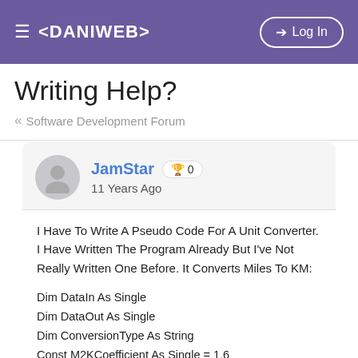≡ <DANIWEB>  ➔ Log In
Writing Help?
« Software Development Forum
JamStar 🏆 0
11 Years Ago
I Have To Write A Pseudo Code For A Unit Converter. I Have Written The Program Already But I've Not Really Written One Before. It Converts Miles To KM:

Dim DataIn As Single
Dim DataOut As Single
Dim ConversionType As String
Const M2KCoefficient As Single = 1.6
Private Sub UserForm_Activate()